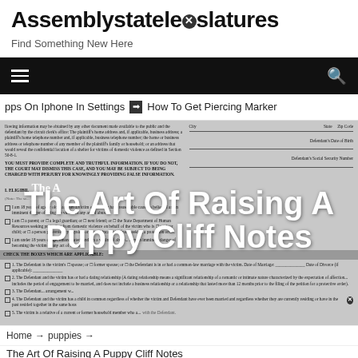Assemblystatelegislatures
Find Something New Here
[Figure (screenshot): Black navigation bar with hamburger menu icon on left and search icon on right]
apps On Iphone In Settings  ⊙  How To Get Piercing Marker
[Figure (photo): Scanned legal court document (domestic violence protection order form) with overlaid large white bold text reading 'The Art Of Raising A Puppy Cliff Notes']
Home > puppies >
The Art Of Raising A Puppy Cliff Notes